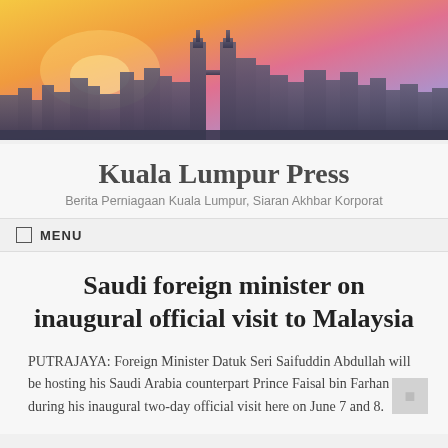[Figure (photo): Kuala Lumpur city skyline at sunset with orange and pink sky, featuring the Petronas Twin Towers]
Kuala Lumpur Press
Berita Perniagaan Kuala Lumpur, Siaran Akhbar Korporat
MENU
Saudi foreign minister on inaugural official visit to Malaysia
PUTRAJAYA: Foreign Minister Datuk Seri Saifuddin Abdullah will be hosting his Saudi Arabia counterpart Prince Faisal bin Farhan during his inaugural two-day official visit here on June 7 and 8.